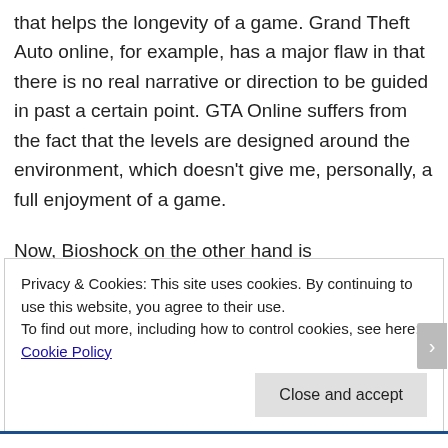that helps the longevity of a game. Grand Theft Auto online, for example, has a major flaw in that there is no real narrative or direction to be guided in past a certain point. GTA Online suffers from the fact that the levels are designed around the environment, which doesn't give me, personally, a full enjoyment of a game.
Now, Bioshock on the other hand is
Privacy & Cookies: This site uses cookies. By continuing to use this website, you agree to their use.
To find out more, including how to control cookies, see here: Cookie Policy
Close and accept